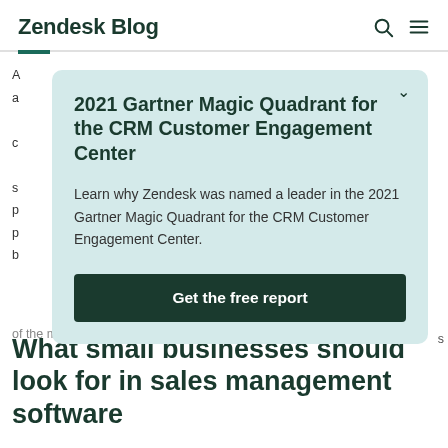Zendesk Blog
2021 Gartner Magic Quadrant for the CRM Customer Engagement Center
Learn why Zendesk was named a leader in the 2021 Gartner Magic Quadrant for the CRM Customer Engagement Center.
Get the free report
of the most popular options.
What small businesses should look for in sales management software